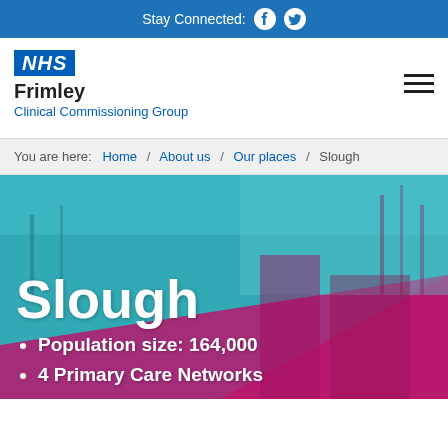Stay Connected: Facebook Twitter
[Figure (logo): NHS Frimley Clinical Commissioning Group logo with NHS blue square and organisation name]
You are here: Home / About us / Our places / Slough
[Figure (photo): Hero image of Slough with teal and magenta colour overlay showing buildings and trees]
Slough
Population size: 164,000
4 Primary Care Networks